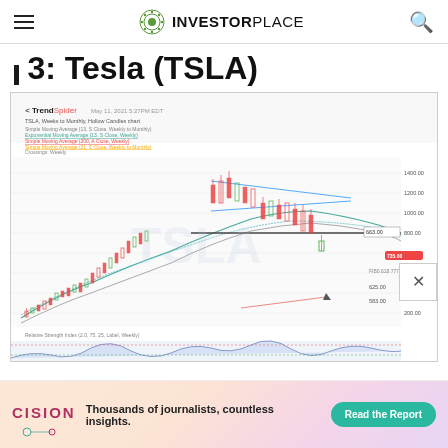INVESTORPLACE
3: Tesla (TSLA)
[Figure (screenshot): TrendSpider chart of TSLA Weeks to Monthly Hollow Candles showing candlestick chart with moving averages, a descending wedge/triangle pattern highlighted in blue, horizontal support/resistance lines, price labels around $900, $700, $600, $500, $400 levels, and an RSI indicator panel below.]
[Figure (other): CISION advertisement banner: 'Thousands of journalists, countless insights.' with a Read the Report button.]